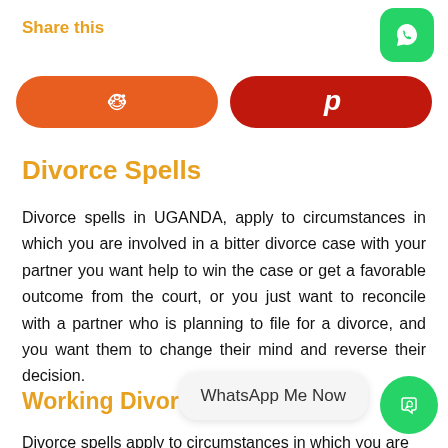Share this
[Figure (logo): WhatsApp green rounded square icon top right]
[Figure (infographic): Reddit orange pill button and Pinterest dark red pill button for social sharing]
Divorce Spells
Divorce spells in UGANDA, apply to circumstances in which you are involved in a bitter divorce case with your partner you want help to win the case or get a favorable outcome from the court, or you just want to reconcile with a partner who is planning to file for a divorce, and you want them to change their mind and reverse their decision.
Working Divorce s…
Divorce spells apply to circumstances in which you are
[Figure (infographic): WhatsApp Me Now chat bubble and green circular WhatsApp reply icon floating bottom right]